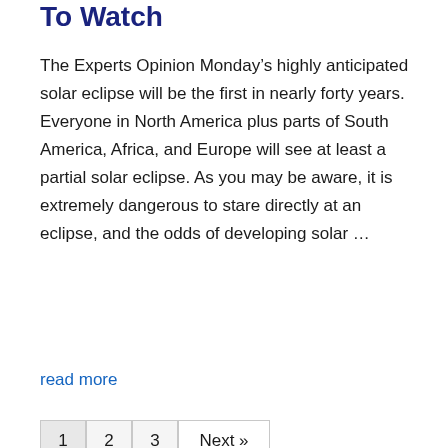To Watch
The Experts Opinion Monday’s highly anticipated solar eclipse will be the first in nearly forty years. Everyone in North America plus parts of South America, Africa, and Europe will see at least a partial solar eclipse. As you may be aware, it is extremely dangerous to stare directly at an eclipse, and the odds of developing solar ...
read more
1  2  3  Next »
Categories
Articles
Uncategorized